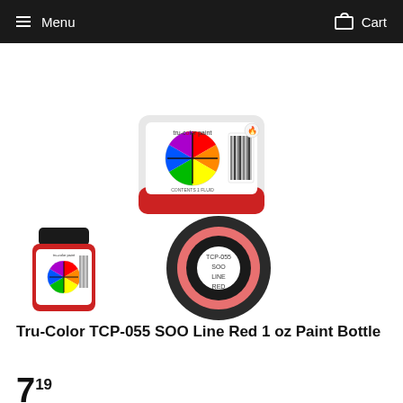Menu   Cart
[Figure (photo): Top-down and side view of Tru-Color TCP-055 SOO Line Red 1 oz paint bottles. Top image shows large bottle from above with color wheel label. Bottom left shows small bottle from side with tru-color paint label. Bottom right shows bottle cap from above with text TCP-055 SOO LINE RED.]
Tru-Color TCP-055 SOO Line Red 1 oz Paint Bottle
7.19